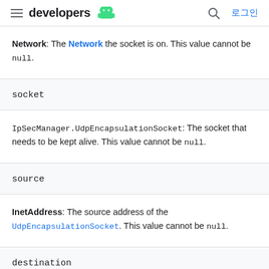developers [android logo] | 로그인
Network: The Network the socket is on. This value cannot be null.
socket
IpSecManager.UdpEncapsulationSocket: The socket that needs to be kept alive. This value cannot be null.
source
InetAddress: The source address of the UdpEncapsulationSocket. This value cannot be null.
destination